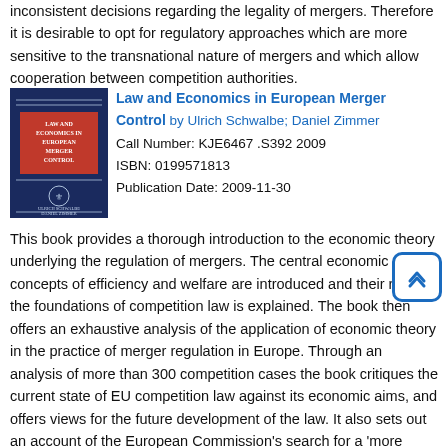inconsistent decisions regarding the legality of mergers. Therefore it is desirable to opt for regulatory approaches which are more sensitive to the transnational nature of mergers and which allow cooperation between competition authorities.
[Figure (illustration): Book cover of 'Law and Economics in European Merger Control' by Ulrich Schwalbe and Daniel Zimmer. Dark navy blue cover with a red rectangle in the center containing the book title in white text, gold decorative lines, and an emblem at the bottom.]
Law and Economics in European Merger Control by Ulrich Schwalbe; Daniel Zimmer
Call Number: KJE6467 .S392 2009
ISBN: 0199571813
Publication Date: 2009-11-30
This book provides a thorough introduction to the economic theory underlying the regulation of mergers. The central economic concepts of efficiency and welfare are introduced and their role in the foundations of competition law is explained. The book then offers an exhaustive analysis of the application of economic theory in the practice of merger regulation in Europe. Through an analysis of more than 300 competition cases the book critiques the current state of EU competition law against its economic aims, and offers views for the future development of the law. It also sets out an account of the European Commission's search for a 'more economic approach' to competition law, and analyses the policy's successes and failures.